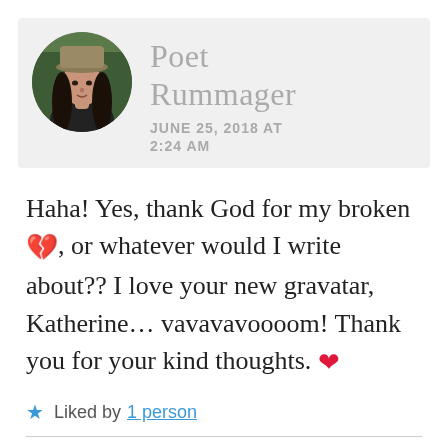[Figure (photo): Circular avatar photo of a woman wearing a cap, with long dark hair, outdoors background]
Poet Rummager
JUNE 25, 2018 AT 2:24 AM
Haha! Yes, thank God for my broken 💔, or whatever would I write about?? I love your new gravatar, Katherine… vavavavoooom! Thank you for your kind thoughts. ❤
Liked by 1 person